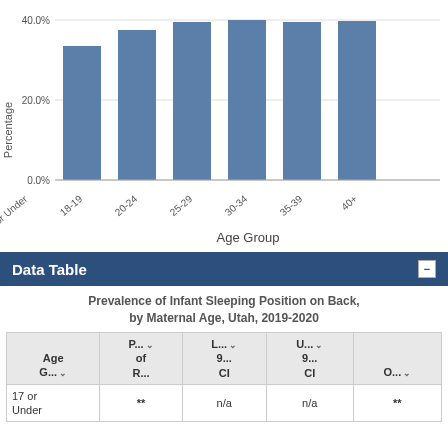[Figure (bar-chart): Prevalence of Infant Sleeping Position on Back, by Maternal Age, Utah, 2019-2020]
Data Table
Prevalence of Infant Sleeping Position on Back, by Maternal Age, Utah, 2019-2020
| Age G... | P... of R... | L... 9... CI | U... 9... CI | O... |
| --- | --- | --- | --- | --- |
| 17 or Under | ** | n/a | n/a | ** |